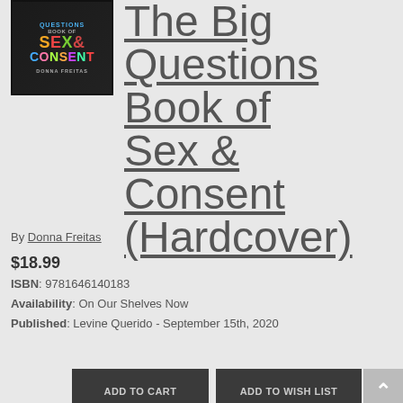[Figure (photo): Book cover of 'The Big Questions Book of Sex & Consent' by Donna Freitas, with colorful letters on dark background]
The Big Questions Book of Sex & Consent (Hardcover)
By Donna Freitas
$18.99
ISBN: 9781646140183
Availability: On Our Shelves Now
Published: Levine Querido - September 15th, 2020